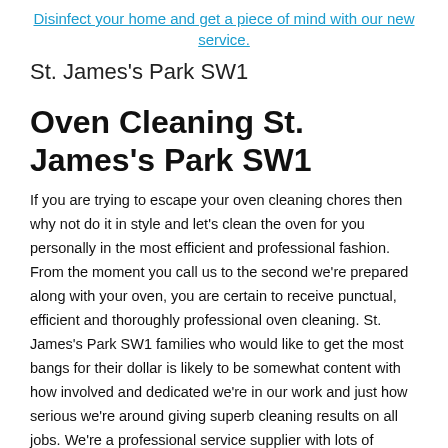Disinfect your home and get a piece of mind with our new service.
St. James's Park SW1
Oven Cleaning St. James's Park SW1
If you are trying to escape your oven cleaning chores then why not do it in style and let's clean the oven for you personally in the most efficient and professional fashion. From the moment you call us to the second we're prepared along with your oven, you are certain to receive punctual, efficient and thoroughly professional oven cleaning. St. James's Park SW1 families who would like to get the most bangs for their dollar is likely to be somewhat content with how involved and dedicated we're in our work and just how serious we're around giving superb cleaning results on all jobs. We're a professional service supplier with lots of cleaning industry experience which means we have the skills and expertise to clean your oven to a perfect finish without costing you a small fortune either. We are aware that there are quite a lot of models, versions and forms of ovens out there and each of them needs and an individualised cleaning strategy so that you can give the perfect cleaning results. This is no problem for people as we use the most proficient and highly experienced